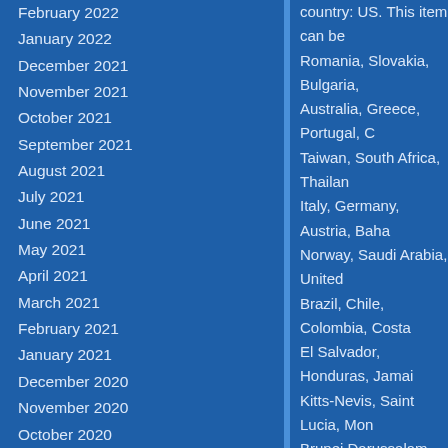February 2022
January 2022
December 2021
November 2021
October 2021
September 2021
August 2021
July 2021
June 2021
May 2021
April 2021
March 2021
February 2021
January 2021
December 2020
November 2020
October 2020
September 2020
country: US. This item can be shipped to Romania, Slovakia, Bulgaria, Australia, Greece, Portugal, Cyprus, Taiwan, South Africa, Thailand, Italy, Germany, Austria, Bahamas, Norway, Saudi Arabia, United Arab, Brazil, Chile, Colombia, Costa Rica, El Salvador, Honduras, Jamaica, Saint Kitts-Nevis, Saint Lucia, Montserrat, Brunei Darussalam, Bolivia, Ecuador, Iceland, Jersey, Jordan, Cambodia, Monaco, Macau, Martinique, Vietnam, Uruguay.
Warranty: Manufac...
Country/Region of M...
Authorized Dealer: Y...
Compatibility Discla... avai
Ebay Global Shippi...
Free Shipping Item...